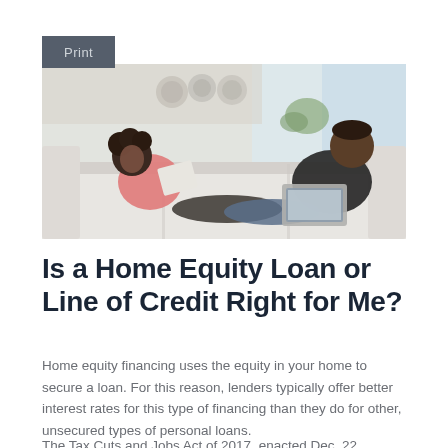[Figure (photo): Two people, a woman in a pink top and a man in a dark shirt, sitting on a white sofa. The woman is holding papers and smiling, the man has a laptop. Background shows a bright kitchen/living area.]
Is a Home Equity Loan or Line of Credit Right for Me?
Home equity financing uses the equity in your home to secure a loan. For this reason, lenders typically offer better interest rates for this type of financing than they do for other, unsecured types of personal loans.
The Tax Cuts and Jobs Act of 2017, enacted Dec. 22